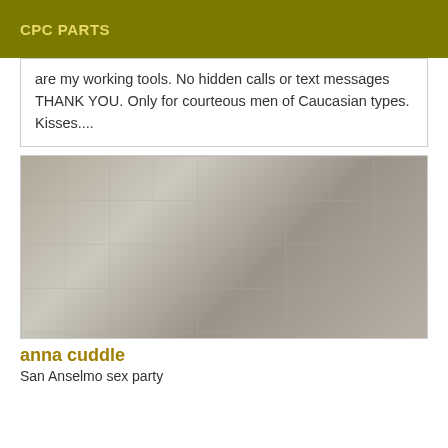CPC PARTS
are my working tools. No hidden calls or text messages THANK YOU. Only for courteous men of Caucasian types. Kisses....
[Figure (photo): Photo of a woman in black lingerie and red heels posed against tiled wall]
anna cuddle
San Anselmo sex party